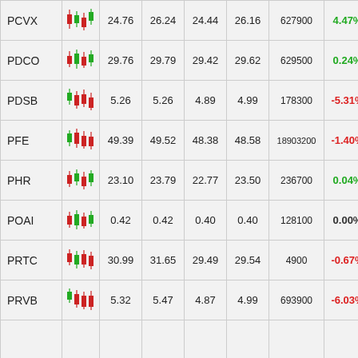| Ticker | Chart | Open | High | Low | Close | Volume | Change% |
| --- | --- | --- | --- | --- | --- | --- | --- |
| PCVX |  | 24.76 | 26.24 | 24.44 | 26.16 | 627900 | 4.47% |
| PDCO |  | 29.76 | 29.79 | 29.42 | 29.62 | 629500 | 0.24% |
| PDSB |  | 5.26 | 5.26 | 4.89 | 4.99 | 178300 | -5.31% |
| PFE |  | 49.39 | 49.52 | 48.38 | 48.58 | 18903200 | -1.40% |
| PHR |  | 23.10 | 23.79 | 22.77 | 23.50 | 236700 | 0.04% |
| POAI |  | 0.42 | 0.42 | 0.40 | 0.40 | 128100 | 0.00% |
| PRTC |  | 30.99 | 31.65 | 29.49 | 29.54 | 4900 | -0.67% |
| PRVB |  | 5.32 | 5.47 | 4.87 | 4.99 | 693900 | -6.03% |
|  |  |  |  |  |  |  |  |